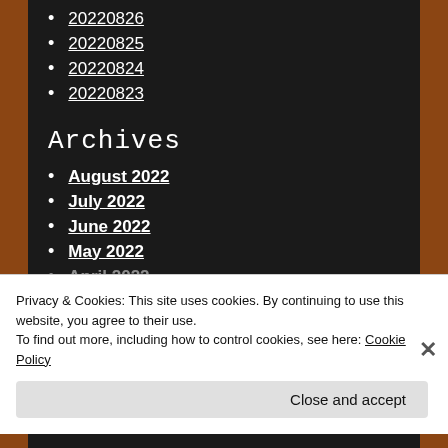20220826
20220825
20220824
20220823
Archives
August 2022
July 2022
June 2022
May 2022
April 2022
Privacy & Cookies: This site uses cookies. By continuing to use this website, you agree to their use.
To find out more, including how to control cookies, see here: Cookie Policy
Close and accept